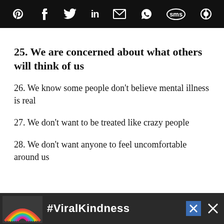Social share icons bar (Pinterest, Facebook, Twitter, LinkedIn, Email, WhatsApp, SMS, other)
25. We are concerned about what others will think of us
26. We know some people don't believe mental illness is real
27. We don't want to be treated like crazy people
28. We don't want anyone to feel uncomfortable around us
[Figure (screenshot): #ViralKindness advertisement banner with rainbow graphic at the bottom of the page]